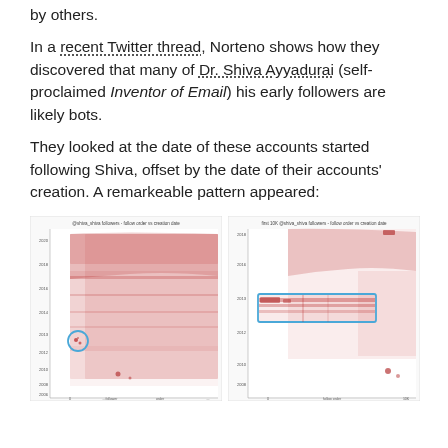by others.
In a recent Twitter thread, Norteno shows how they discovered that many of Dr. Shiva Ayyadurai (self-proclaimed Inventor of Email) his early followers are likely bots.
They looked at the date of these accounts started following Shiva, offset by the date of their accounts' creation. A remarkeable pattern appeared:
[Figure (scatter-plot): Two side-by-side scatter plots. Left: '@shiva_shiva followers - follow order vs creation date' showing a dense red scatter plot with a highlighted blue circle around a cluster near the bottom-left. Right: 'first 10K @shiva_shiva followers - follow order vs creation date' showing the same pattern zoomed in with a blue rectangle highlighting a band of dense red dots indicating bot-like follow pattern.]